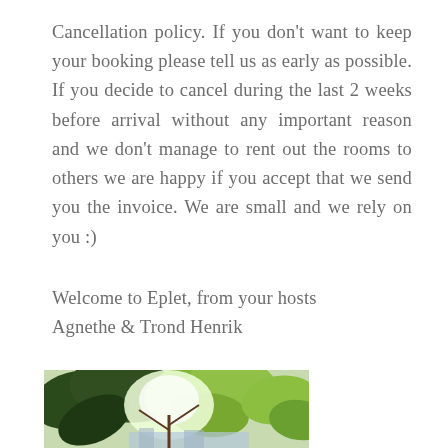Cancellation policy. If you don't want to keep your booking please tell us as early as possible. If you decide to cancel during the last 2 weeks before arrival without any important reason and we don't manage to rent out the rooms to others we are happy if you accept that we send you the invoice. We are small and we rely on you :)
Welcome to Eplet, from your hosts Agnethe & Trond Henrik
[Figure (photo): Partial photo showing green tropical leaves (likely a rubber plant or similar) with bright light coming through, with a glimpse of a building structure below]